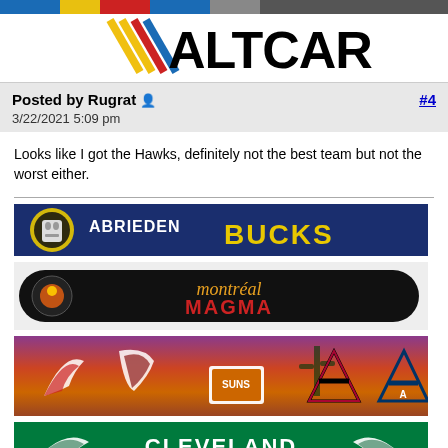[Figure (logo): ALTCAR logo with NASCAR-style racing stripes in yellow, red, and blue, on white background]
Posted by Rugrat  3/22/2021 5:09 pm  #4
Looks like I got the Hawks, definitely not the best team but not the worst either.
[Figure (illustration): Abrieden Bucks hockey team banner - dark blue background with Jason Voorhees mask, yellow and blue team name text]
[Figure (illustration): Montréal Magma team banner - black pill shape with orange/yellow cursive team name and small magma logo]
[Figure (illustration): Arizona sports teams banner - desert sunset background with logos including Coyotes, Suns, Diamondbacks, Arizona Wildcats]
[Figure (illustration): Cleveland team banner - green background with white winged logo and CLEVELAND text]